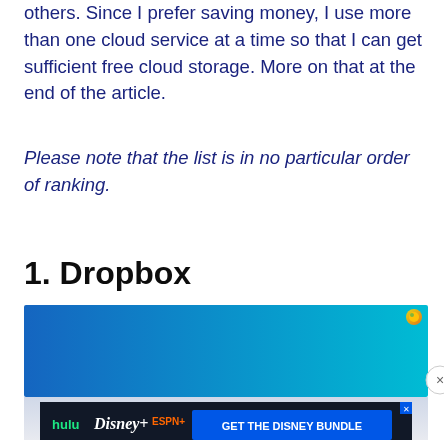others. Since I prefer saving money, I use more than one cloud service at a time so that I can get sufficient free cloud storage. More on that at the end of the article.
Please note that the list is in no particular order of ranking.
1. Dropbox
[Figure (screenshot): Advertisement banner with blue-to-cyan gradient background with a small orange/yellow dot in the upper right corner and an X close button. Below is a Disney Bundle advertisement showing Hulu, Disney+, ESPN+ logos with a 'GET THE DISNEY BUNDLE' button and fine print about Disney and related entities.]